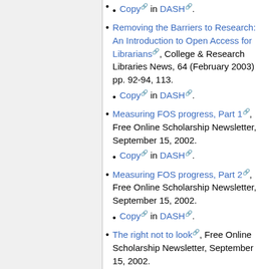Copy in DASH.
Removing the Barriers to Research: An Introduction to Open Access for Librarians, College & Research Libraries News, 64 (February 2003) pp. 92-94, 113.
  • Copy in DASH.
Measuring FOS progress, Part 1, Free Online Scholarship Newsletter, September 15, 2002.
  • Copy in DASH.
Measuring FOS progress, Part 2, Free Online Scholarship Newsletter, September 15, 2002.
  • Copy in DASH.
The right not to look, Free Online Scholarship Newsletter, September 15, 2002.
  • Copy in DASH.